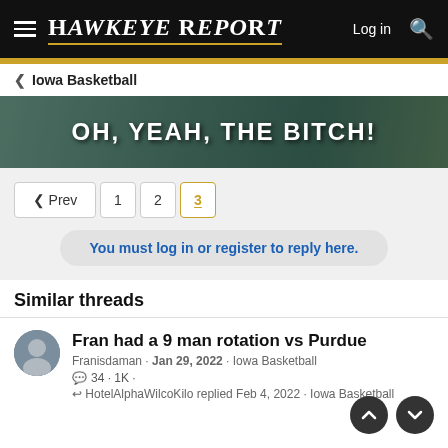Hawkeye Report — Log in, Search
Iowa Basketball
[Figure (photo): Banner image with text overlay reading: OH, YEAH, THE BITCH!]
Prev 1 2 3 (pagination)
You must log in or register to reply here.
Similar threads
Fran had a 9 man rotation vs Purdue
Franisdaman · Jan 29, 2022 · Iowa Basketball
34 · 1K ·
HotelAlphaWilcoKilo replied Feb 4, 2022 · Iowa Basketball